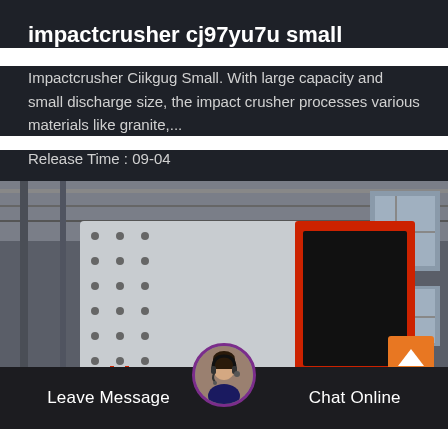impactcrusher cj97yu7u small
Impactcrusher Ciikgug Small. With large capacity and small discharge size, the impact crusher processes various materials like granite,...
Release Time : 09-04
[Figure (photo): Industrial impact crusher machine in a factory setting. The machine is large, white and red colored, with a rectangular red-framed panel/chute on the right side. Factory interior with steel structure visible in background.]
Leave Message
Chat Online